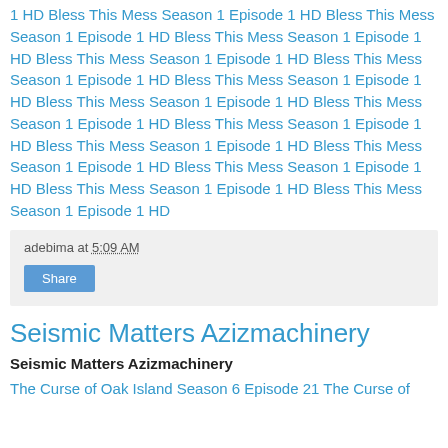1 HD Bless This Mess Season 1 Episode 1 HD Bless This Mess Season 1 Episode 1 HD Bless This Mess Season 1 Episode 1 HD Bless This Mess Season 1 Episode 1 HD Bless This Mess Season 1 Episode 1 HD Bless This Mess Season 1 Episode 1 HD Bless This Mess Season 1 Episode 1 HD Bless This Mess Season 1 Episode 1 HD Bless This Mess Season 1 Episode 1 HD Bless This Mess Season 1 Episode 1 HD Bless This Mess Season 1 Episode 1 HD Bless This Mess Season 1 Episode 1 HD Bless This Mess Season 1 Episode 1 HD Bless This Mess Season 1 Episode 1 HD
adebima at 5:09 AM
Share
Seismic Matters Azizmachinery
Seismic Matters Azizmachinery
The Curse of Oak Island Season 6 Episode 21 The Curse of